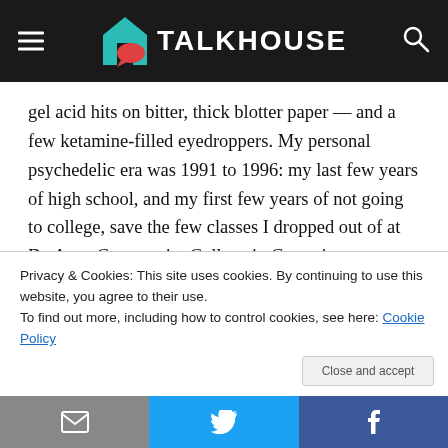TALKHOUSE
gel acid hits on bitter, thick blotter paper — and a few ketamine-filled eyedroppers. My personal psychedelic era was 1991 to 1996: my last few years of high school, and my first few years of not going to college, save the few classes I dropped out of at De Anza Community College in Cupertino, California.
An average Friday or Saturday night went something like this: around eight I would meet up to get high with my friends Chico, Tuffy and Moose. Obviously not their real
Privacy & Cookies: This site uses cookies. By continuing to use this website, you agree to their use.
To find out more, including how to control cookies, see here: Cookie Policy
email | twitter | facebook